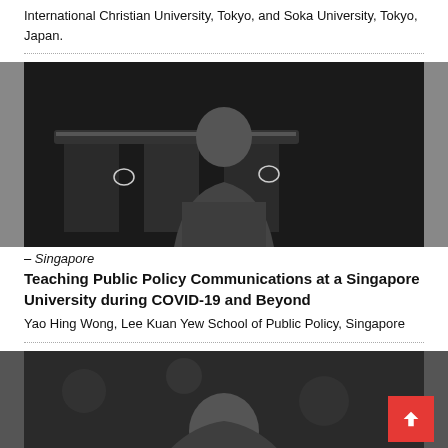International Christian University, Tokyo, and Soka University, Tokyo, Japan.
[Figure (photo): Black and white photo of Yao Hing Wong, with Marina Bay Sands Singapore in the background at night]
– Singapore
Teaching Public Policy Communications at a Singapore University during COVID-19 and Beyond
Yao Hing Wong, Lee Kuan Yew School of Public Policy, Singapore
[Figure (photo): Black and white photo of a second person, partially visible at bottom of page]